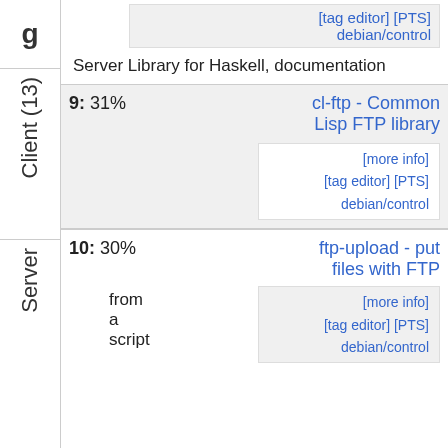g
Client (13)
[tag editor] [PTS] debian/control
Server Library for Haskell, documentation
| 9: 31% | cl-ftp - Common Lisp FTP library |
|  | [more info] [tag editor] [PTS] debian/control |
Server
| 10: 30% | ftp-upload - put files with FTP |  |
| from a script | [more info] [tag editor] [PTS] debian/control |